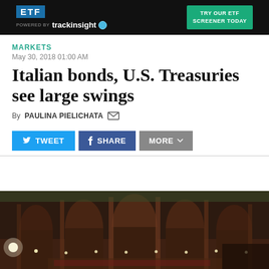[Figure (screenshot): Advertisement banner: ETF logo on dark background, 'POWERED BY trackinsight' with planet icon, green 'TRY OUR ETF SCREENER TODAY' button]
MARKETS
May 30, 2018 01:00 AM
Italian bonds, U.S. Treasuries see large swings
By PAULINA PIELICHATA
[Figure (screenshot): Social sharing buttons: TWEET (blue), SHARE (dark blue), MORE (grey with chevron)]
[Figure (photo): Interior of Italian parliament chamber – ornate wooden arches, tiered seating, warm lighting]